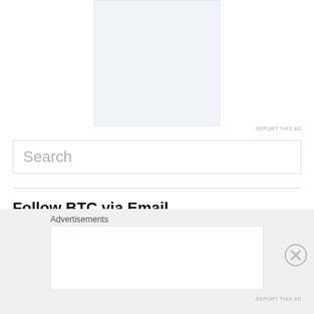[Figure (other): Advertisement placeholder box with light blue-gray background]
REPORT THIS AD
Search
Follow BTC via Email
Enter your email address to follow this blog and receive notifications of new posts by email.
Advertisements
[Figure (other): Second advertisement placeholder box]
REPORT THIS AD